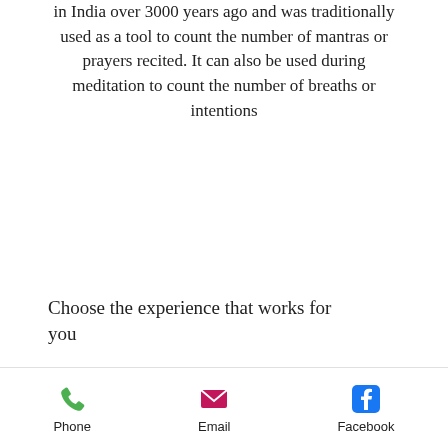in India over 3000 years ago and was traditionally used as a tool to count the number of mantras or prayers recited. It can also be used during meditation to count the number of breaths or intentions
Choose the experience that works for you
ELEVATE
Phone  Email  Facebook